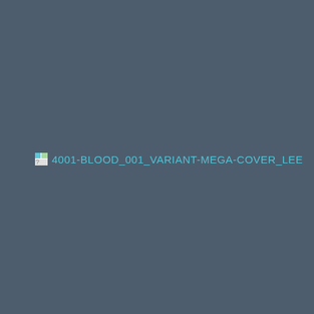[Figure (other): Broken image placeholder with filename text '4001-BLOOD_001_VARIANT-MEGA-COVER_LEE' displayed in cyan on a dark blue-grey background]